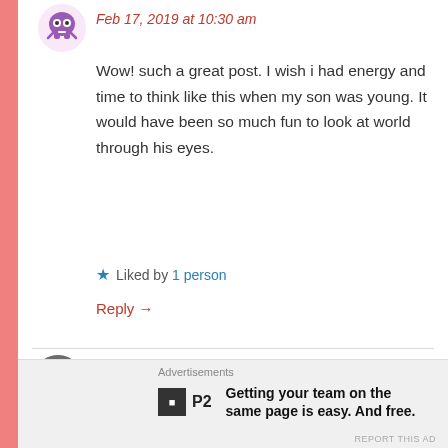Feb 17, 2019 at 10:30 am
Wow! such a great post. I wish i had energy and time to think like this when my son was young. It would have been so much fun to look at world through his eyes.
Liked by 1 person
Reply →
GLADYSNAVA
Feb 18, 2019 at 3:45 am
Advertisements
Getting your team on the same page is easy. And free.